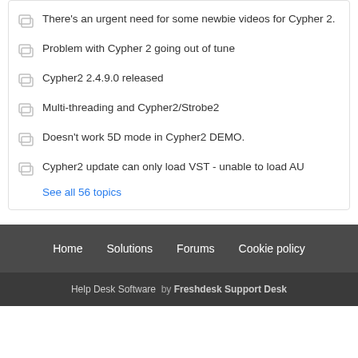There's an urgent need for some newbie videos for Cypher 2.
Problem with Cypher 2 going out of tune
Cypher2 2.4.9.0 released
Multi-threading and Cypher2/Strobe2
Doesn't work 5D mode in Cypher2 DEMO.
Cypher2 update can only load VST - unable to load AU
See all 56 topics
Home  Solutions  Forums  Cookie policy
Help Desk Software  by Freshdesk Support Desk